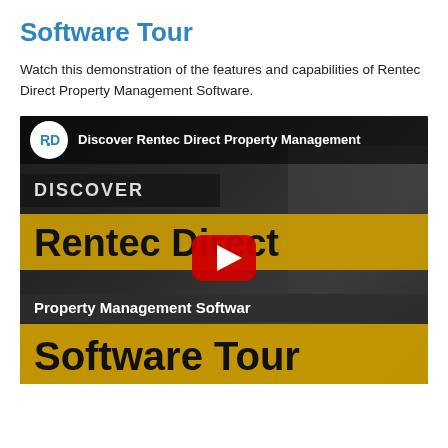Software Tour
Watch this demonstration of the features and capabilities of Rentec Direct Property Management Software.
[Figure (screenshot): YouTube video thumbnail for 'Discover Rentec Direct Property Management Software Tour' showing the Rentec Direct logo, channel name, and text banners 'DISCOVER', 'Rentec Direct', 'Property Management Software', 'Software Tour' on a dark background with a YouTube play button in the center.]